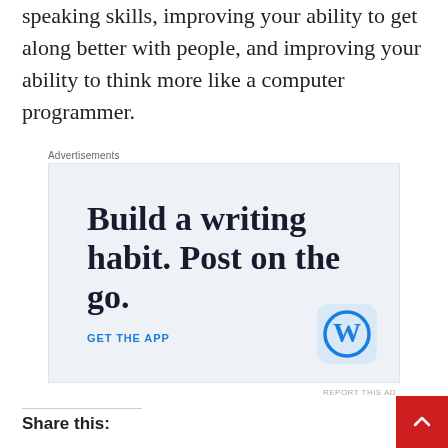speaking skills, improving your ability to get along better with people, and improving your ability to think more like a computer programmer.
Advertisements
[Figure (infographic): Advertisement for WordPress app showing text 'Build a writing habit. Post on the go.' with a 'GET THE APP' call-to-action link in blue and the WordPress logo icon on the right.]
REPORT THIS AD
Share this: